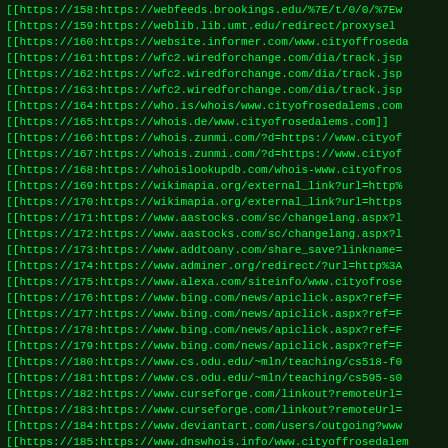[[https://158:https://webfeeds.brookings.edu/%7E/t/0/0/%7Ew...
[[https://159:https://weblib.lib.umt.edu/redirect/proxyselect...
[[https://160:https://website.informer.com/www.cityofroseda...
[[https://161:https://wfc2.wiredforchange.com/dia/track.jsp...
[[https://162:https://wfc2.wiredforchange.com/dia/track.jsp...
[[https://163:https://wfc2.wiredforchange.com/dia/track.jsp...
[[https://164:https://who.is/whois/www.cityofrosedalems.com...
[[https://165:https://whois.de/www.cityofrosedalems.com]]
[[https://166:https://whois.zunmi.com/?d=https://www.cityof...
[[https://167:https://whois.zunmi.com/?d=https://www.cityof...
[[https://168:https://whoislookupdb.com/whois-www.cityofros...
[[https://169:https://wikimapia.org/external_link?url=http%...
[[https://170:https://wikimapia.org/external_link?url=https...
[[https://171:https://www.aastocks.com/sc/changelang.aspx?l...
[[https://172:https://www.aastocks.com/sc/changelang.aspx?l...
[[https://173:https://www.addtoany.com/share_save?linkname=...
[[https://174:https://www.adminer.org/redirect/?url=http%3A...
[[https://175:https://www.alexa.com/siteinfo/www.cityofrose...
[[https://176:https://www.bing.com/news/apiclick.aspx?ref=F...
[[https://177:https://www.bing.com/news/apiclick.aspx?ref=F...
[[https://178:https://www.bing.com/news/apiclick.aspx?ref=F...
[[https://179:https://www.bing.com/news/apiclick.aspx?ref=F...
[[https://180:https://www.cs.odu.edu/~mln/teaching/cs518-f0...
[[https://181:https://www.cs.odu.edu/~mln/teaching/cs595-s0...
[[https://182:https://www.curseforge.com/linkout?remoteUrl=...
[[https://183:https://www.curseforge.com/linkout?remoteUrl=...
[[https://184:https://www.deviantart.com/users/outgoing?www...
[[https://185:https://www.dnswhois.info/www.cityoffrosedalem...
[[https://186:https://www.domainsherpa.com/share.php?site=h...
[[https://187:https://...